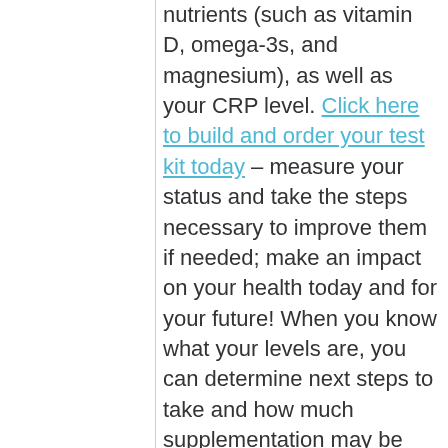nutrients (such as vitamin D, omega-3s, and magnesium), as well as your CRP level. Click here to build and order your test kit today – measure your status and take the steps necessary to improve them if needed; make an impact on your health today and for your future! When you know what your levels are, you can determine next steps to take and how much supplementation may be needed if you are not at your target levels.
Concerned specifically about your immune health? See if your immune system might be needing more vitamin D, and the immune-boosting nutrients...